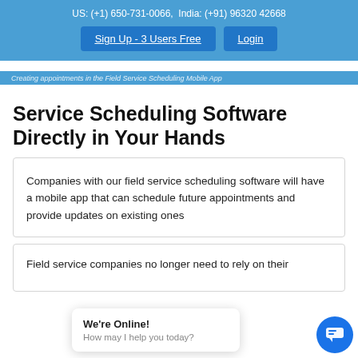US: (+1) 650-731-0066,  India: (+91) 96320 42668
Sign Up - 3 Users Free   Login
Creating appointments in the Field Service Scheduling Mobile App
Service Scheduling Software Directly in Your Hands
Companies with our field service scheduling software will have a mobile app that can schedule future appointments and provide updates on existing ones
Field service companies no longer need to rely on their
We're Online! How may I help you today?